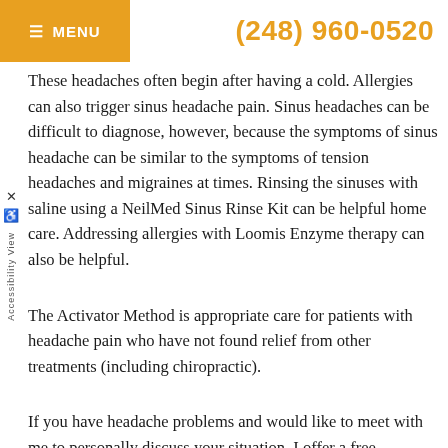≡ MENU   (248) 960-0520
These headaches often begin after having a cold. Allergies can also trigger sinus headache pain. Sinus headaches can be difficult to diagnose, however, because the symptoms of sinus headache can be similar to the symptoms of tension headaches and migraines at times. Rinsing the sinuses with saline using a NeilMed Sinus Rinse Kit can be helpful home care. Addressing allergies with Loomis Enzyme therapy can also be helpful.
The Activator Method is appropriate care for patients with headache pain who have not found relief from other treatments (including chiropractic).
If you have headache problems and would like to meet with me to personally discuss your situation, I offer a free consultation visit. This visit is a 15 to 20